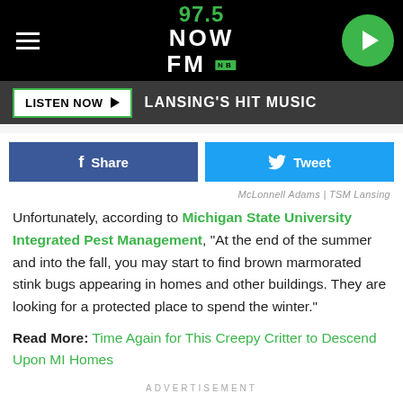97.5 NOW FM — LANSING'S HIT MUSIC
[Figure (logo): 97.5 NOW FM radio station logo in green and white on black background with hamburger menu and play button]
LISTEN NOW ▶  LANSING'S HIT MUSIC
f Share   🐦 Tweet
McLonnell Adams  TSM Lansing
Unfortunately, according to Michigan State University Integrated Pest Management, "At the end of the summer and into the fall, you may start to find brown marmorated stink bugs appearing in homes and other buildings. They are looking for a protected place to spend the winter."
Read More: Time Again for This Creepy Critter to Descend Upon MI Homes
ADVERTISEMENT